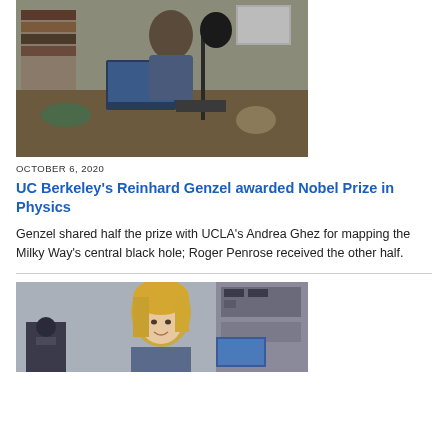[Figure (photo): Older man sitting at a cluttered desk with a laptop, microphone stand, and various objects, in an office setting]
OCTOBER 6, 2020
UC Berkeley's Reinhard Genzel awarded Nobel Prize in Physics
Genzel shared half the prize with UCLA's Andrea Ghez for mapping the Milky Way's central black hole; Roger Penrose received the other half.
[Figure (photo): Blonde woman smiling in a laboratory setting with microscopes and electronic equipment]